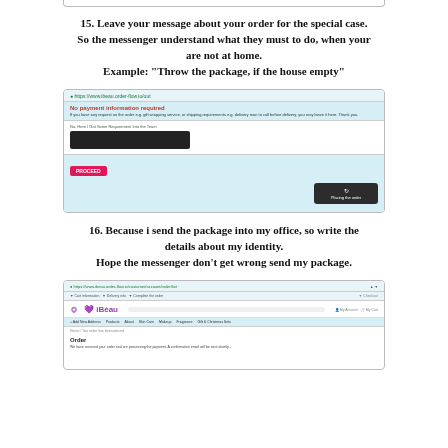[Figure (screenshot): Partial screenshot of a webpage (top, cropped) showing a delivery/order form]
15. Leave your message about your order for the special case. So the messenger understand what they must to do, when your are not at home.
Example: "Throw the package, if the house empty"
[Figure (screenshot): Screenshot of an order checkout page showing 'No payment information required' message, a redacted address field, a PROCEED button, and a 'Placing the order' overlay popup]
16. Because i send the package into my office, so write the details about my identity.
Hope the messenger don't get wrong send my package.
[Figure (screenshot): Screenshot of iBeau website showing an order details page with navigation menu and Order section]